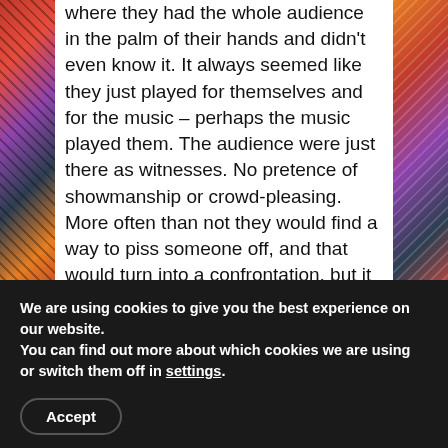where they had the whole audience in the palm of their hands and didn't even know it. It always seemed like they just played for themselves and for the music – perhaps the music played them. The audience were just there as witnesses. No pretence of showmanship or crowd-pleasing. More often than not they would find a way to piss someone off, and that would turn into a confrontation, but it was always an amazing spectacle. An overwhelming sound that cut through anything – stage invasions, fights, collapsed drum kits, shit P.A.s or venues. It didn't matter. Apart from really enjoying the music, as a photographer, there was always an infinity of
We are using cookies to give you the best experience on our website.
You can find out more about which cookies we are using or switch them off in settings.
Accept